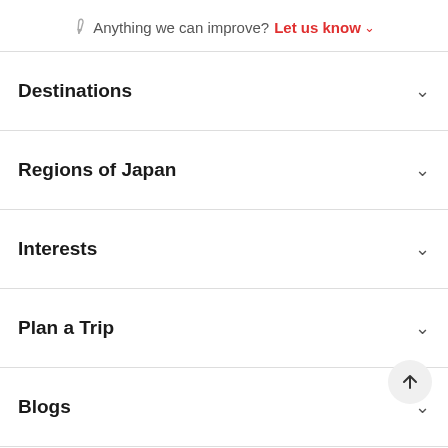✏ Anything we can improve? Let us know ˅
Destinations
Regions of Japan
Interests
Plan a Trip
Blogs
Fauou Ha...